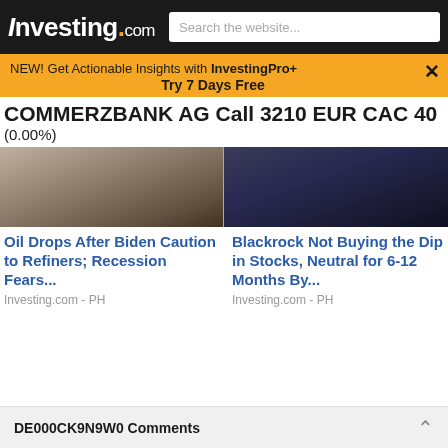Investing.com  Search the website...
NEW! Get Actionable Insights with InvestingPro+  Try 7 Days Free
COMMERZBANK AG Call 3210 EUR CAC 40 (0.00%)
[Figure (photo): Close-up of a man in a suit, partially cropped (left news article image)]
[Figure (photo): Man in dark suit holding a smartphone (right news article image)]
Oil Drops After Biden Caution to Refiners; Recession Fears...
Investing.com - PH
Blackrock Not Buying the Dip in Stocks, Neutral for 6-12 Months By...
Investing.com - PH
DE000CK9N9W0 Comments